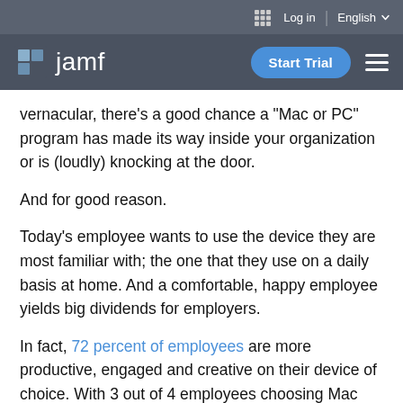jamf — Log in | English — Start Trial
vernacular, there's a good chance a "Mac or PC" program has made its way inside your organization or is (loudly) knocking at the door.
And for good reason.
Today's employee wants to use the device they are most familiar with; the one that they use on a daily basis at home. And a comfortable, happy employee yields big dividends for employers.
In fact, 72 percent of employees are more productive, engaged and creative on their device of choice. With 3 out of 4 employees choosing Mac over PC to achieve their peak productivity when given the chance, it's easy to see why Apple is growing its share in the enterprise.